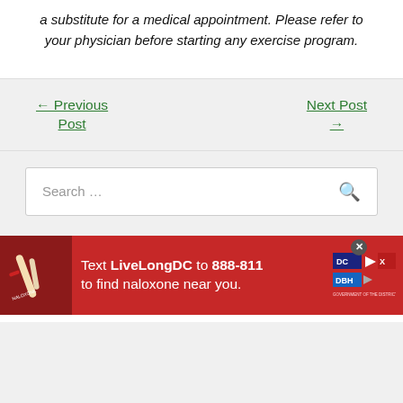a substitute for a medical appointment. Please refer to your physician before starting any exercise program.
← Previous Post
Next Post →
Search ...
[Figure (photo): Red advertisement banner: Text LiveLongDC to 888-811 to find naloxone near you. Shows a hand holding a naloxone kit. DC government logos on the right. Close button (X) in top right corner.]